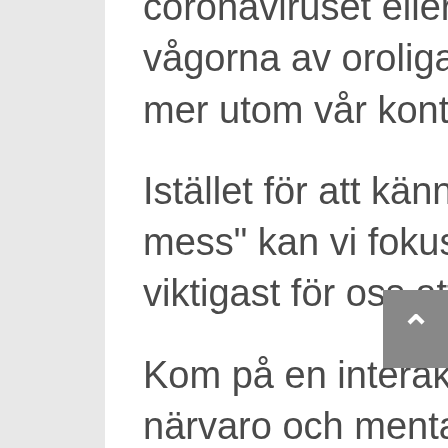coronaviruset eller kriget, men det kan stoppa vågorna av oroliga tankar från att bli mer och mer utom vår kontroll.
Istället för att känna oss som en "mindful mess" kan vi fokusera vårt sinne på det som är viktigast för oss att ta itu med just nu.
Kom på en interaktiv föreläsningskväll: Öka din närvaro och mentala styrka!
-Öka din känslomässiga tolerans
-Möt förändringar och prövande tider med större lätthet